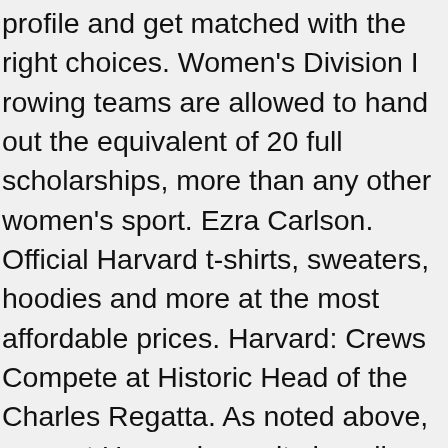profile and get matched with the right choices. Women's Division I rowing teams are allowed to hand out the equivalent of 20 full scholarships, more than any other women's sport. Ezra Carlson. Official Harvard t-shirts, sweaters, hoodies and more at the most affordable prices. Harvard: Crews Compete at Historic Head of the Charles Regatta. As noted above, crew at Harvard recruits heavily internationally, and loves junior national champions. Even after the merger of Harvard and Radcliffe Colleges, the team maintains the Radcliffe name and Radcliffe colors as a sign of respect for the tradition of Radcliffe and the women who fought to establish the rowing program. The official Rowing page for the. "We are excited to welcome our new athletes to our team and the class of 2024 at Harvard" said Head Coach Sarah Baker. Order before December 12th for guaranteed Christmas Delivery. at 866-495-5172 to learn more. The crew has a distinguished history. THESE TELL THE TIME OF YOUR LIFE. View Full Bio. here for you as soon as you turn 13. 2. The Boston Sunday Globe had a long article on the twins this week. 1852 Yale races Harvard in the first intercollegiate athletic event in